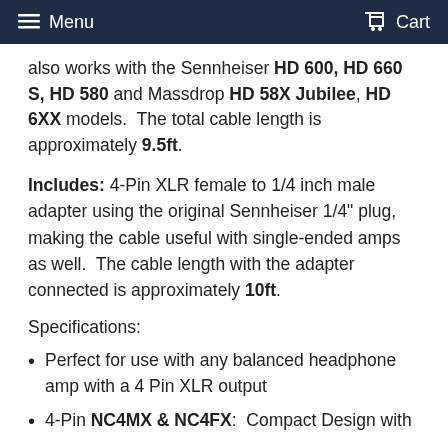Menu   Cart
also works with the Sennheiser HD 600, HD 660 S, HD 580 and Massdrop HD 58X Jubilee, HD 6XX models.  The total cable length is approximately 9.5ft.
Includes: 4-Pin XLR female to 1/4 inch male adapter using the original Sennheiser 1/4" plug, making the cable useful with single-ended amps as well.  The cable length with the adapter connected is approximately 10ft.
Specifications:
Perfect for use with any balanced headphone amp with a 4 Pin XLR output
4-Pin NC4MX & NC4FX:  Compact Design with